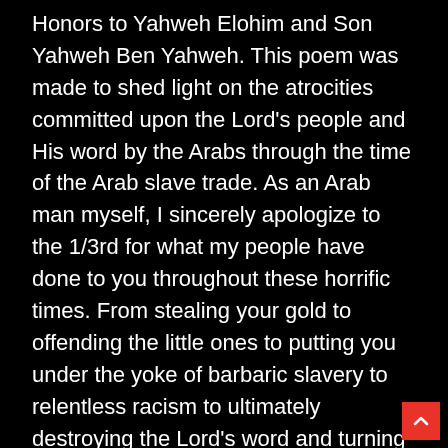Honors to Yahweh Elohim and Son Yahweh Ben Yahweh. This poem was made to shed light on the atrocities committed upon the Lord's people and His word by the Arabs through the time of the Arab slave trade. As an Arab man myself, I sincerely apologize to the 1/3rd for what my people have done to you throughout these horrific times. From stealing your gold to offending the little ones to putting you under the yoke of barbaric slavery to relentless racism to ultimately destroying the Lord's word and turning your people astray by means of making you proselytes of a false faith, there must be recompense. While it was permitted by the Most High as a lesson unto his children, it does not override the brutality that was inflicted upon your people by any means nor does it especially not permit the desecration of Yah's word